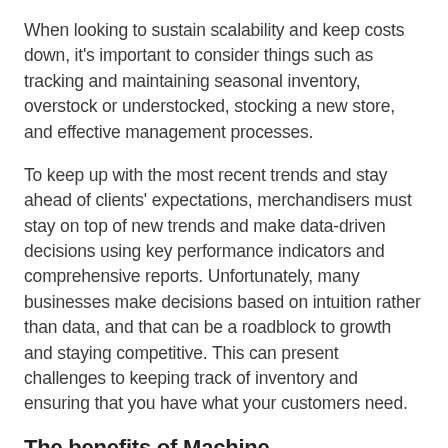When looking to sustain scalability and keep costs down, it's important to consider things such as tracking and maintaining seasonal inventory, overstock or understocked, stocking a new store, and effective management processes.
To keep up with the most recent trends and stay ahead of clients' expectations, merchandisers must stay on top of new trends and make data-driven decisions using key performance indicators and comprehensive reports. Unfortunately, many businesses make decisions based on intuition rather than data, and that can be a roadblock to growth and staying competitive. This can present challenges to keeping track of inventory and ensuring that you have what your customers need.
The benefits of Machine